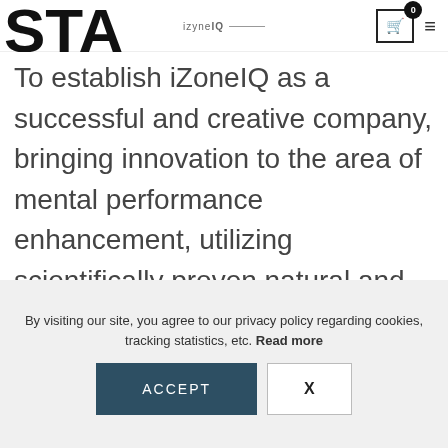izyneIQ navigation bar with cart (0) and hamburger menu
STA
To establish iZoneIQ as a successful and creative company, bringing innovation to the area of mental performance enhancement, utilizing scientifically proven natural and organic ingredients in proprietary blend formulations.
By visiting our site, you agree to our privacy policy regarding cookies, tracking statistics, etc. Read more
ACCEPT
X